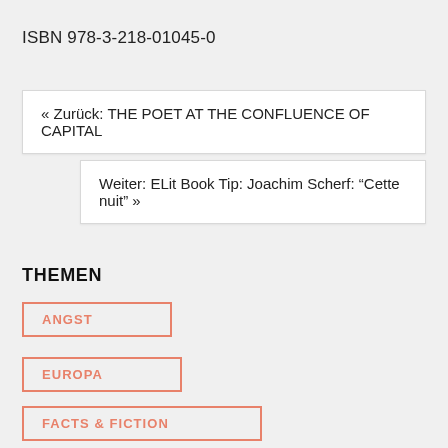ISBN 978-3-218-01045-0
« Zurück: THE POET AT THE CONFLUENCE OF CAPITAL
Weiter: ELit Book Tip: Joachim Scherf: “Cette nuit” »
THEMEN
ANGST
EUROPA
FACTS & FICTION